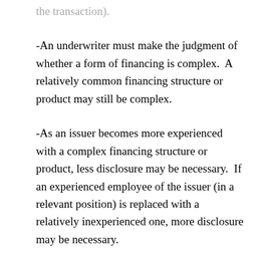the transaction).
-An underwriter must make the judgment of whether a form of financing is complex.  A relatively common financing structure or product may still be complex.
-As an issuer becomes more experienced with a complex financing structure or product, less disclosure may be necessary.  If an experienced employee of the issuer (in a relevant position) is replaced with a relatively inexperienced one, more disclosure may be necessary.
-The underwriter must tailor its disclosures to the specific issuer and the specific complex financing structure/product, rather than handing out a general form with various types of complex financing